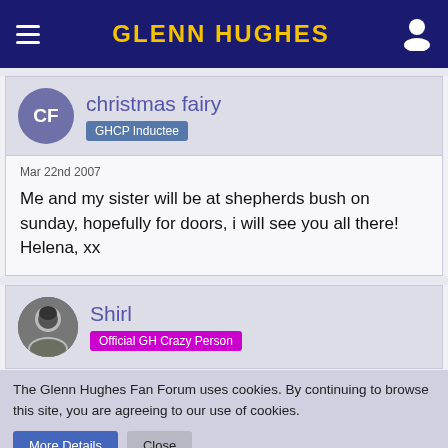Glenn Hughes
christmas fairy
GHCP Inductee
Mar 22nd 2007

Me and my sister will be at shepherds bush on sunday, hopefully for doors, i will see you all there! Helena, xx
Shirl
Official GH Crazy Person
The Glenn Hughes Fan Forum uses cookies. By continuing to browse this site, you are agreeing to our use of cookies.
More Details  Close